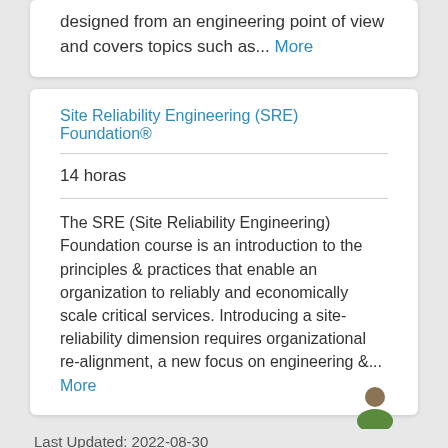designed from an engineering point of view and covers topics such as... More
Site Reliability Engineering (SRE) Foundation®
14 horas
The SRE (Site Reliability Engineering) Foundation course is an introduction to the principles & practices that enable an organization to reliably and economically scale critical services. Introducing a site-reliability dimension requires organizational re-alignment, a new focus on engineering &... More
Last Updated: 2022-08-30